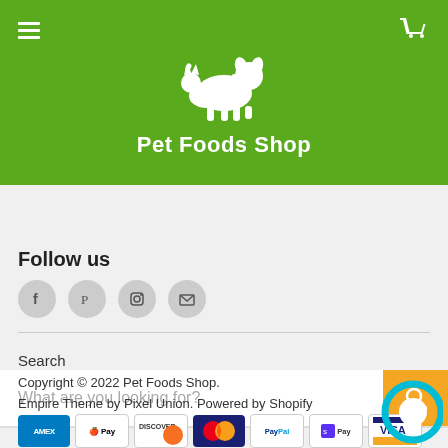[Figure (logo): Pet Foods Shop logo with white dog and cat silhouette on green background, with text 'Pet Foods Shop']
[Figure (screenshot): Search bar with placeholder 'What are you looking for?' and orange search button]
Follow us
[Figure (illustration): Social media icons: Facebook, Pinterest, Instagram, Email - circular grey buttons]
Search
Copyright © 2022 Pet Foods Shop.
Empire Theme by Pixel Union. Powered by Shopify
[Figure (illustration): Payment method icons: American Express, Apple Pay, Discover, Mastercard, PayPal, Shop Pay, Visa]
[Figure (illustration): Teal chat bubble icon in bottom right corner]